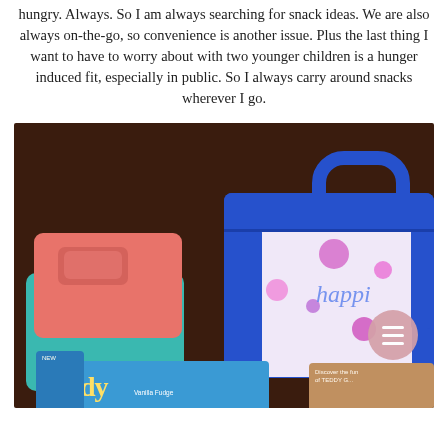hungry. Always. So I am always searching for snack ideas. We are also always on-the-go, so convenience is another issue. Plus the last thing I want to have to worry about with two younger children is a hunger induced fit, especially in public. So I always carry around snacks wherever I go.
[Figure (photo): Photo showing a blue insulated lunch bag with a colorful floral pattern and 'happi' written on it, a teal container with a salmon/pink lid, and Teddy Graham snack boxes, on a dark wood background. A pink hamburger/menu icon is in the lower right corner.]